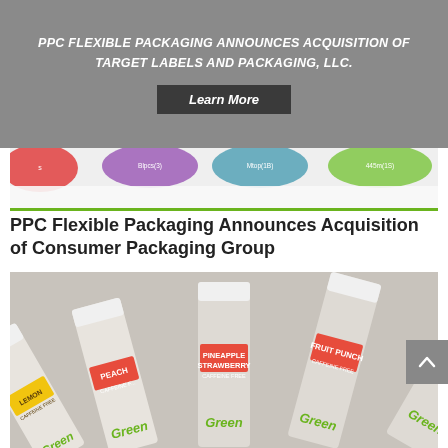PPC FLEXIBLE PACKAGING ANNOUNCES ACQUISITION OF TARGET LABELS AND PACKAGING, LLC.
Learn More
[Figure (photo): Partial view of colorful product lids/tops cropped at top of page]
PPC Flexible Packaging Announces Acquisition of Consumer Packaging Group
[Figure (photo): Fan arrangement of silver foil stick/pouch packets labeled Lemon, Peach, Pineapple Strawberry, Fruit Punch, Raspberry Cream with red flavor labels and green 'Green' branding]